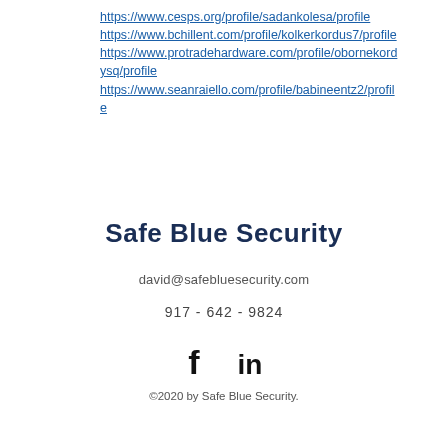https://www.cesps.org/profile/sadankolesa/profile
https://www.bchillent.com/profile/kolkerkordus7/profile
https://www.protradehardware.com/profile/obornekordysq/profile
https://www.seanraiello.com/profile/babineentz2/profile
Safe Blue Security
david@safebluesecurity.com
917 - 642 - 9824
[Figure (other): Social media icons: Facebook (f) and LinkedIn (in)]
©2020 by Safe Blue Security.